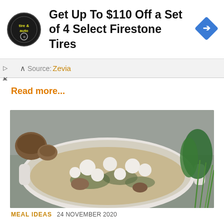[Figure (other): Advertisement banner: Walmart Tire & Auto circular logo on left, text 'Get Up To $110 Off a Set of 4 Select Firestone Tires' in large bold font, blue diamond navigation arrow icon on right]
Source: Zevia
Read more...
[Figure (photo): Food photo showing a white oval baking dish filled with rice, shredded chicken, spinach, mushrooms, and dollops of ricotta or goat cheese. Fresh mushrooms visible top left, fresh herbs (parsley and chives) on right.]
MEAL IDEAS  24 NOVEMBER 2020